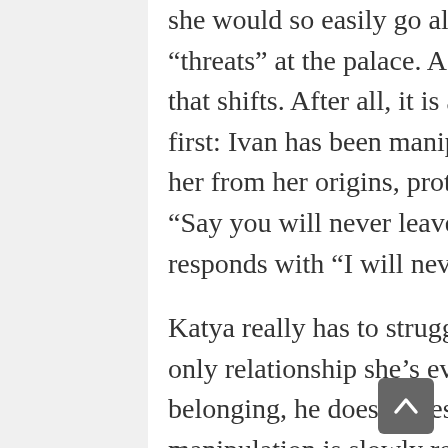she would so easily go along with Ivan's plan for her to kill the “threats” at the palace. As the story continues, however, I think that shifts. After all, it is ambiguous how much agency she has at first: Ivan has been manipulating her from the beginning, hiding her from her origins, protecting himself by using her. He tells her “Say you will never leave me,” she immediately (involuntarily?) responds with “I will never leave you.”
Katya really has to struggle to accept that despite him being the only relationship she’s ever known, her introduction to love and belonging, he doesn’t deserve her loyalty. The extent of his manipulation is slowly revealed to both us as readers and Katya: not only did her use her in this instance, he has been draining the life from their forest and using her life force to bind Zhen to the lake. It’s despicable, and I’m tempted to question how he can both be this villain and be the person who